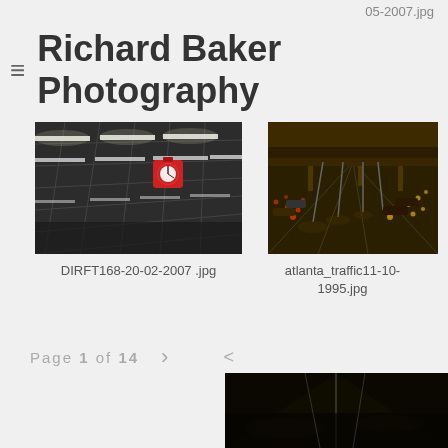05-2007.jpg
Richard Baker Photography
[Figure (photo): Indoor warehouse or distribution center ceiling with fluorescent strip lights and a red clock mounted to the ceiling structure. Dark industrial interior.]
DIRFT168-20-02-2007 .jpg
[Figure (photo): Aerial view of heavy Atlanta highway traffic at dusk or dawn, multiple lanes packed with cars, street lights illuminated, overpass bridges visible.]
atlanta_traffic11-10-1995.jpg
Page 1 of 14
[Figure (photo): Dark low-light photo showing part of a car or vehicle exterior, mostly black with some reflective surfaces visible.]